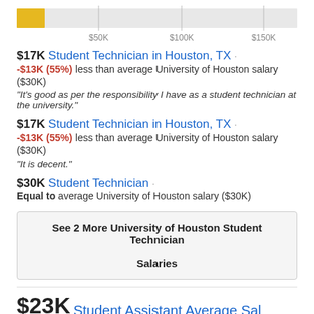[Figure (bar-chart): Salary bar chart]
$17K Student Technician in Houston, TX · -$13K (55%) less than average University of Houston salary ($30K) "It's good as per the responsibility I have as a student technician at the university."
$17K Student Technician in Houston, TX · -$13K (55%) less than average University of Houston salary ($30K) "It is decent."
$30K Student Technician · Equal to average University of Houston salary ($30K)
See 2 More University of Houston Student Technician Salaries
$23K Student Assistant Average Sal...